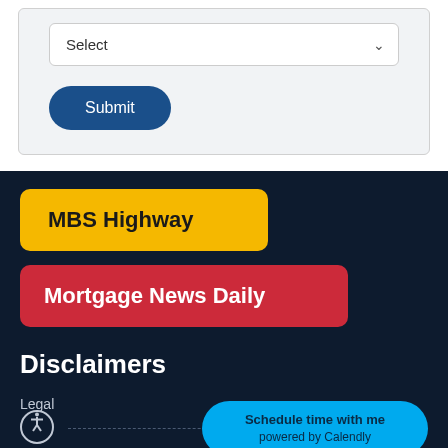Select
Submit
MBS Highway
Mortgage News Daily
Disclaimers
Legal
Privacy Policy
Schedule time with me powered by Calendly